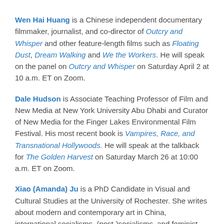Wen Hai Huang is a Chinese independent documentary filmmaker, journalist, and co-director of Outcry and Whisper and other feature-length films such as Floating Dust, Dream Walking and We the Workers. He will speak on the panel on Outcry and Whisper on Saturday April 2 at 10 a.m. ET on Zoom.
Dale Hudson is Associate Teaching Professor of Film and New Media at New York University Abu Dhabi and Curator of New Media for the Finger Lakes Environmental Film Festival. His most recent book is Vampires, Race, and Transnational Hollywoods. He will speak at the talkback for The Golden Harvest on Saturday March 26 at 10:00 a.m. ET on Zoom.
Xiao (Amanda) Ju is a PhD Candidate in Visual and Cultural Studies at the University of Rochester. She writes about modern and contemporary art in China, international socialisms, (post-)socialisms, and feminist theories